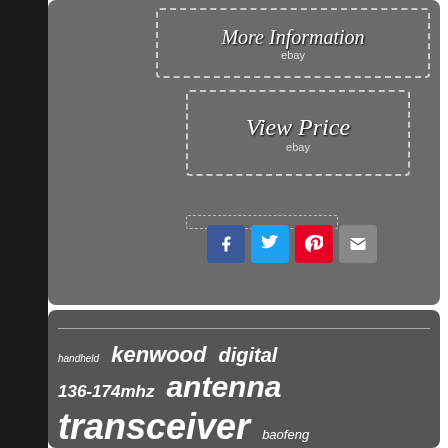[Figure (screenshot): eBay listing screenshot showing More Information and View Price dashed-border buttons on a gray background, with Facebook, Twitter, Pinterest, and email share icons below.]
More Information
ebay
View Price
ebay
handheld  kenwood  digital  136-174mhz  antenna  transceiver  baofeng  mobile  136-174  hfvhfuhf  talkie  144430mhz  receiver